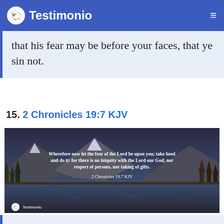Testimonio
that his fear may be before your faces, that ye sin not.
15. 2 Chronicles 19:7 KJV
[Figure (photo): Scenic mountain lake with forest and rocky peaks at dusk. White text overlay reads: 'Wherefore now let the fear of the Lord be upon you; take heed and do it: for there is no iniquity with the Lord our God, nor respect of persons, nor taking of gifts. 2 Chronicles 19:7 KJV'. Testimonio logo in bottom left.]